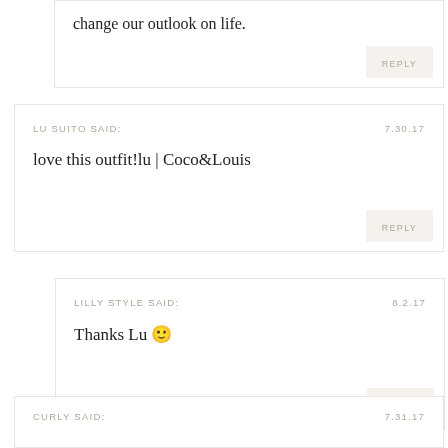change our outlook on life.
REPLY
LU SUITO SAID:   7.30.17
love this outfit!lu | Coco&Louis
REPLY
LILLY STYLE SAID:   8.2.17
Thanks Lu 🙂
REPLY
CURLY SAID:   7.31.17